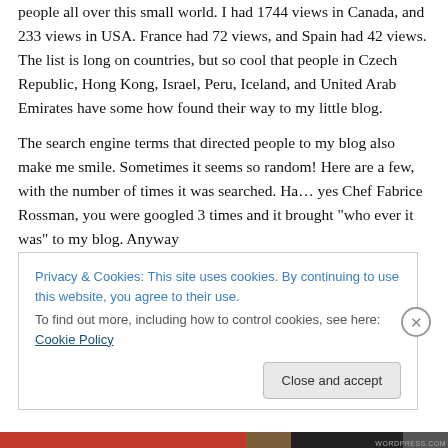people all over this small world. I had 1744 views in Canada, and 233 views in USA. France had 72 views, and Spain had 42 views. The list is long on countries, but so cool that people in Czech Republic, Hong Kong, Israel, Peru, Iceland, and United Arab Emirates have some how found their way to my little blog.

The search engine terms that directed people to my blog also make me smile. Sometimes it seems so random! Here are a few, with the number of times it was searched. Ha… yes Chef Fabrice Rossman, you were googled 3 times and it brought "who ever it was" to my blog. Anyway
Privacy & Cookies: This site uses cookies. By continuing to use this website, you agree to their use.
To find out more, including how to control cookies, see here: Cookie Policy